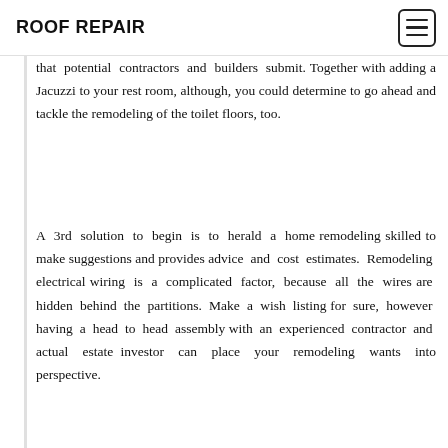ROOF REPAIR
that potential contractors and builders submit. Together with adding a Jacuzzi to your rest room, although, you could determine to go ahead and tackle the remodeling of the toilet floors, too.
A 3rd solution to begin is to herald a home remodeling skilled to make suggestions and provides advice and cost estimates. Remodeling electrical wiring is a complicated factor, because all the wires are hidden behind the partitions. Make a wish listing for sure, however having a head to head assembly with an experienced contractor and actual estate investor can place your remodeling wants into perspective.
This additionally contains some dos and don'ts in